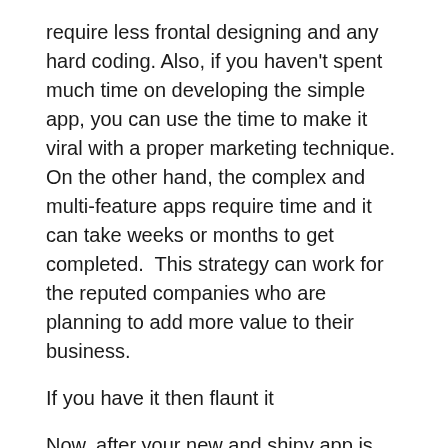require less frontal designing and any hard coding. Also, if you haven't spent much time on developing the simple app, you can use the time to make it viral with a proper marketing technique. On the other hand, the complex and multi-feature apps require time and it can take weeks or months to get completed.  This strategy can work for the reputed companies who are planning to add more value to their business.
If you have it then flaunt it
Now, after your new and shiny app is available in the market, it's time to increase the visibility. No matter how good your app is, you won't be able to get many downloads, if you don't reach the audience. You can take various steps in order to promote your app. Here are the few examples: